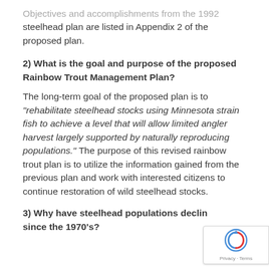Objectives and accomplishments from the 1992 steelhead plan are listed in Appendix 2 of the proposed plan.
2) What is the goal and purpose of the proposed Rainbow Trout Management Plan?
The long-term goal of the proposed plan is to “rehabilitate steelhead stocks using Minnesota strain fish to achieve a level that will allow limited angler harvest largely supported by naturally reproducing populations.” The purpose of this revised rainbow trout plan is to utilize the information gained from the previous plan and work with interested citizens to continue restoration of wild steelhead stocks.
3) Why have steelhead populations declined since the 1970’s?